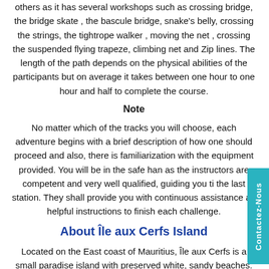others as it has several workshops such as crossing bridge, the bridge skate , the bascule bridge, snake's belly, crossing the strings, the tightrope walker , moving the net , crossing the suspended flying trapeze, climbing net and Zip lines. The length of the path depends on the physical abilities of the participants but on average it takes between one hour to one hour and half to complete the course.
Note
No matter which of the tracks you will choose, each adventure begins with a brief description of how one should proceed and also, there is familiarization with the equipment provided. You will be in the safe hands as the instructors are competent and very well qualified, guiding you till the last station. They shall provide you with continuous assistance and helpful instructions to finish each challenge.
About Île aux Cerfs Island
Located on the East coast of Mauritius, Île aux Cerfs is a small paradise island with preserved white, sandy beaches.
Highly-prized by both Mauritians and tourists, Île aux Cerfs has one developed an area concentrated around the jetty. All you have to do is walk for a few minutes. From there you will find some of the world's beautiful beaches and as such it is one of the must places to visit and see in Mauritius. 'Filaos', gently blown about by the trade winds, provide